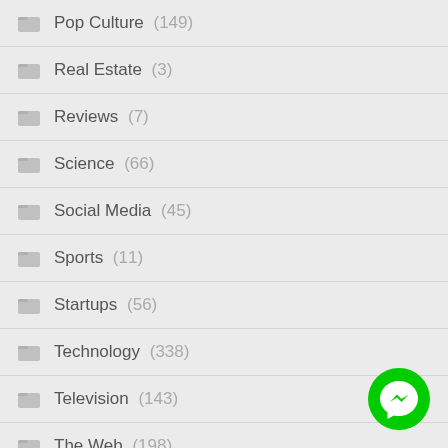Pop Culture (149)
Real Estate (3)
Reviews (7)
Science (66)
Social Media (45)
Sports (11)
Startups (56)
Technology (338)
Television (143)
The Web (198)
[Figure (illustration): Green circular Messenger chat button in bottom right corner]